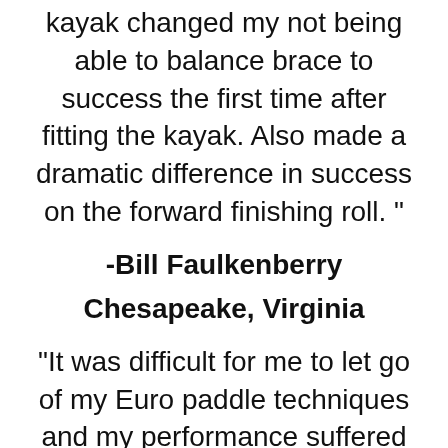kayak changed my not being able to balance brace to success the first time after fitting the kayak. Also made a dramatic difference in success on the forward finishing roll. "
-Bill Faulkenberry
Chesapeake, Virginia
"It was difficult for me to let go of my Euro paddle techniques and my performance suffered from this. Paulo has opened another world for me with his